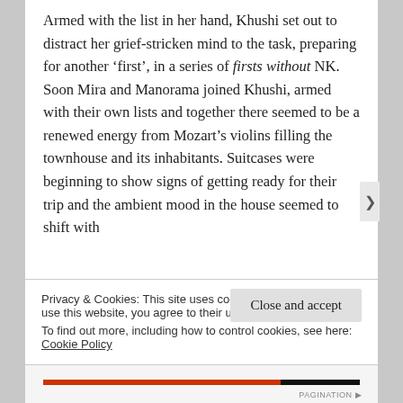Armed with the list in her hand, Khushi set out to distract her grief-stricken mind to the task, preparing for another ‘first’, in a series of firsts without NK.  Soon Mira and Manorama joined Khushi, armed with their own lists and together there seemed to be a renewed energy from Mozart’s violins filling the townhouse and its inhabitants. Suitcases were beginning to show signs of getting ready for their trip and the ambient mood in the house seemed to shift with
Privacy & Cookies: This site uses cookies. By continuing to use this website, you agree to their use.
To find out more, including how to control cookies, see here: Cookie Policy
Close and accept